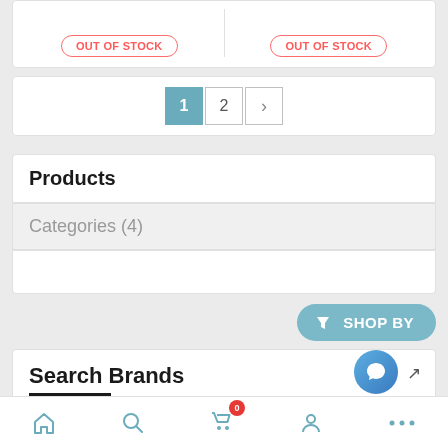OUT OF STOCK
OUT OF STOCK
1  2  >
Products
Categories (4)
SHOP BY
Search Brands
Home | Search | Cart 0 | Account | More